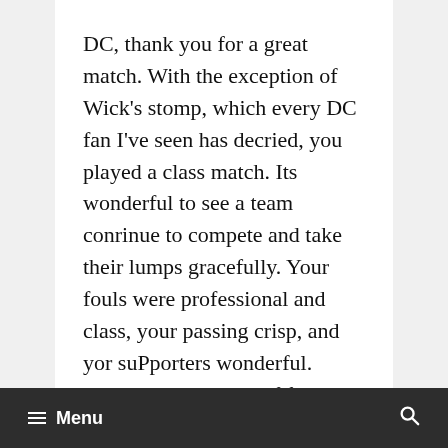DC, thank you for a great match. With the exception of Wick's stomp, which every DC fan I've seen has decried, you played a class match. Its wonderful to see a team conrinue to compete and take their lumps gracefully. Your fouls were professional and class, your passing crisp, and yor suPporters wonderful. From one supporter of football in the US to all others, I salute you. The show put on and the gamesmanship was wonderful. Here's to a long-lasting and competitive but class rivalry.
≡ Menu